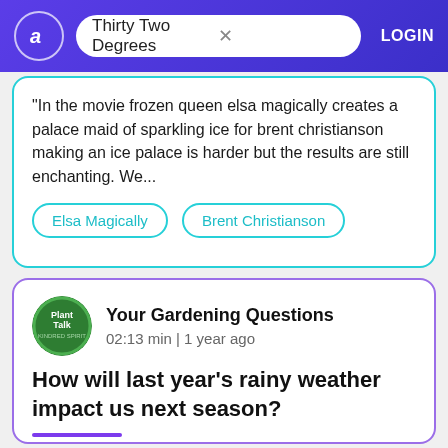Thirty Two Degrees | LOGIN
"In the movie frozen queen elsa magically creates a palace maid of sparkling ice for brent christianson making an ice palace is harder but the results are still enchanting. We...
Elsa Magically
Brent Christianson
Your Gardening Questions
02:13 min | 1 year ago
How will last year's rainy weather impact us next season?
"With the rain that we had on new year's eve we set records pretty much all over the state rainfall. Yep it was